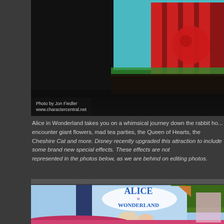[Figure (photo): Dark interior scene with red striped decorations and teal/blue background, likely from Alice in Wonderland attraction interior]
Photo by Jon Fiedler
www.charactercentral.net
Alice in Wonderland takes you on a whimsical journey down the rabbit hole where you encounter giant flowers, mad tea parties, the Queen of Hearts, the Cheshire Cat and more. Disney recently upgraded this attraction to include some brand new special effects. These effects are not represented in the photos below, as we are behind on editing photos.
[Figure (photo): Outdoor photo of the Alice in Wonderland attraction sign - a large book-shaped sign reading 'Alice in Wonderland' with Alice and the Cheshire Cat illustration, with a decorative mushroom in the foreground]